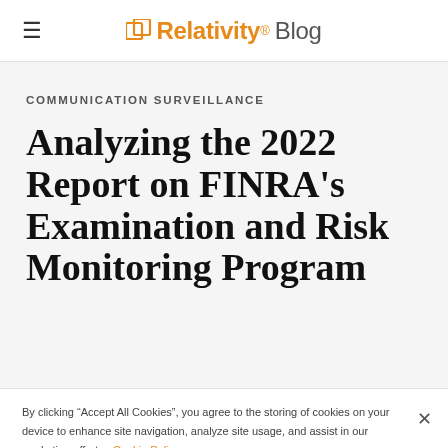Relativity Blog
COMMUNICATION SURVEILLANCE
Analyzing the 2022 Report on FINRA's Examination and Risk Monitoring Program
By clicking “Accept All Cookies”, you agree to the storing of cookies on your device to enhance site navigation, analyze site usage, and assist in our marketing efforts. Cookie Policy